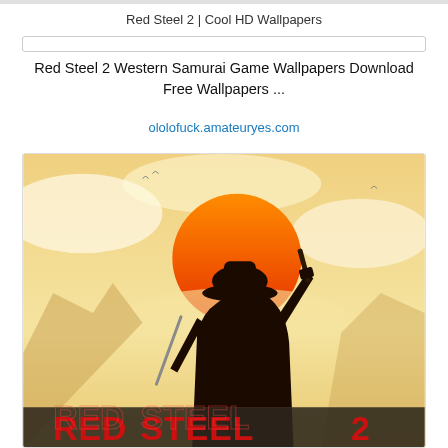Red Steel 2 | Cool HD Wallpapers
Red Steel 2 Western Samurai Game Wallpapers Download Free Wallpapers ...
ololofuck.amateuryes.com
[Figure (illustration): Red Steel 2 game wallpaper showing a silhouetted samurai/cowboy figure in a wide-brimmed hat holding a sword and gun, against a large orange sun on a warm yellow background, with 'RED STEEL 2' text in bold red letters at the bottom.]